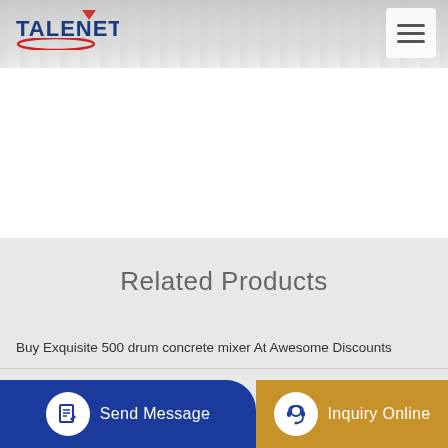TALENET
Related Products
Buy Exquisite 500 drum concrete mixer At Awesome Discounts
used gunite batch plant for sale
...ic mad... ...d...
Send Message | Inquiry Online